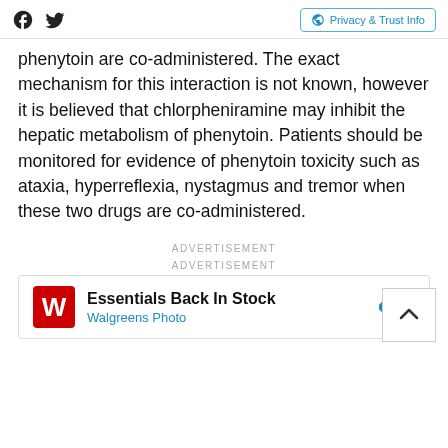Social icons (Facebook, Twitter) | Privacy & Trust Info
phenytoin are co-administered. The exact mechanism for this interaction is not known, however it is believed that chlorpheniramine may inhibit the hepatic metabolism of phenytoin. Patients should be monitored for evidence of phenytoin toxicity such as ataxia, hyperreflexia, nystagmus and tremor when these two drugs are co-administered.
ADVERTISEMENT
ADVERTISEMENT
[Figure (other): Walgreens Photo advertisement banner: 'Essentials Back In Stock' with Walgreens logo and navigation arrow]